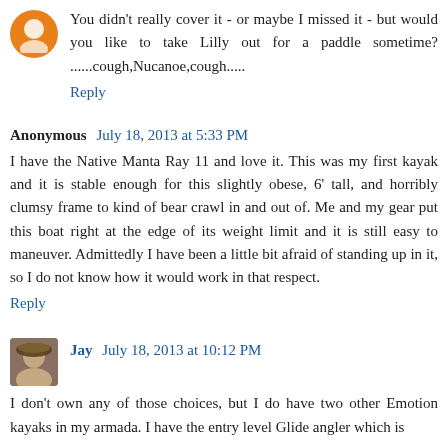You didn't really cover it - or maybe I missed it - but would you like to take Lilly out for a paddle sometime? ......cough,Nucanoe,cough.....
Reply
Anonymous July 18, 2013 at 5:33 PM
I have the Native Manta Ray 11 and love it. This was my first kayak and it is stable enough for this slightly obese, 6' tall, and horribly clumsy frame to kind of bear crawl in and out of. Me and my gear put this boat right at the edge of its weight limit and it is still easy to maneuver. Admittedly I have been a little bit afraid of standing up in it, so I do not know how it would work in that respect.
Reply
Jay July 18, 2013 at 10:12 PM
I don't own any of those choices, but I do have two other Emotion kayaks in my armada. I have the entry level Glide angler which is